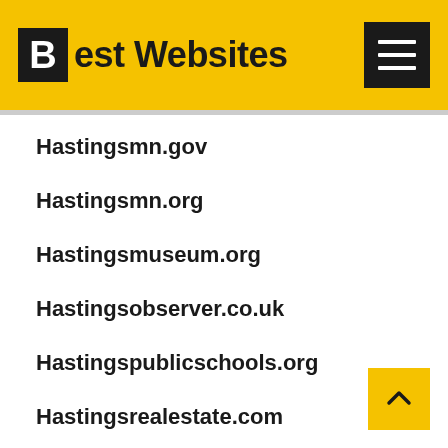Best Websites
Hastingsmn.gov
Hastingsmn.org
Hastingsmuseum.org
Hastingsobserver.co.uk
Hastingspublicschools.org
Hastingsrealestate.com
Hastingsrugby.org
Hastingsschool.com